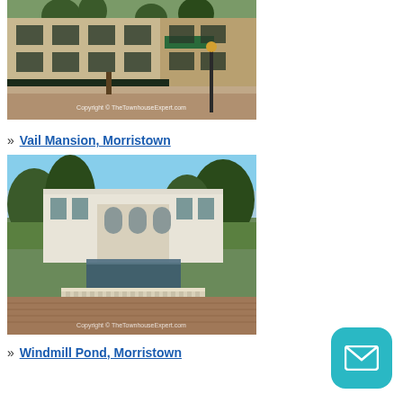[Figure (photo): Street-level photo of a brick townhouse building with iron fence and trees, with 'Copyright © TheTownhouseExpert.com' watermark]
» Vail Mansion, Morristown
[Figure (photo): Photo of Vail Mansion in Morristown — white classical building with reflecting pool and balustrade in foreground, surrounded by trees. 'Copyright © TheTownhouseExpert.com' watermark]
» Windmill Pond, Morristown